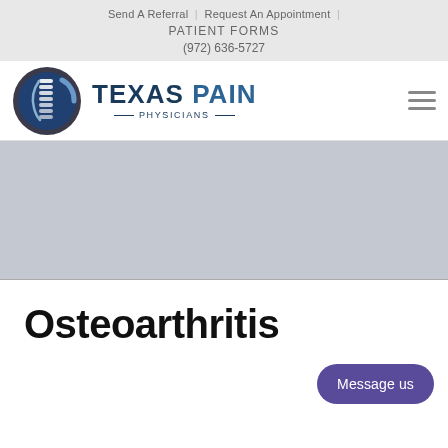Send A Referral | Request An Appointment
PATIENT FORMS
(972) 636-5727
[Figure (logo): Texas Pain Physicians logo with spine graphic in circular emblem and text 'TEXAS PAIN PHYSICIANS']
[Figure (photo): Hero banner image area (gray placeholder)]
Osteoarthritis
Message us